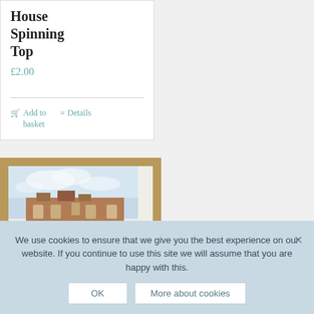House Spinning Top
£2.00
Add to basket
Details
[Figure (photo): Framed watercolour painting of a historic building with a blue sky, shown in a light brown/tan frame with white mat]
We use cookies to ensure that we give you the best experience on our website. If you continue to use this site we will assume that you are happy with this.
OK
More about cookies